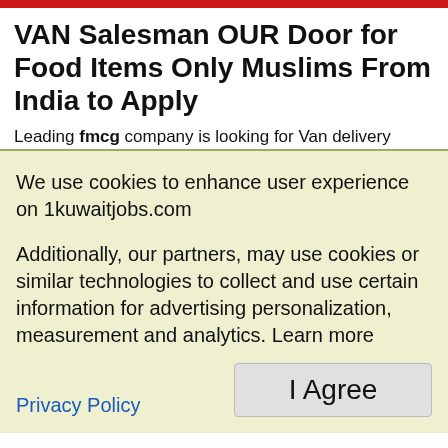VAN Salesman OUR Door for Food Items Only Muslims From India to Apply
Leading fmcg company is looking for Van delivery
We use cookies to enhance user experience on 1kuwaitjobs.com
Additionally, our partners, may use cookies or similar technologies to collect and use certain information for advertising personalization, measurement and analytics. Learn more
Privacy Policy
I Agree